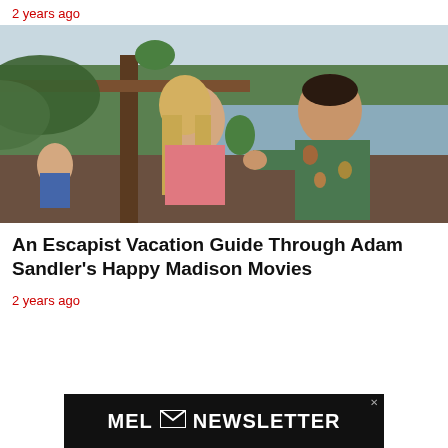2 years ago
[Figure (photo): A scene from an Adam Sandler Happy Madison movie: a blonde woman in a pink top and a man in a tropical patterned shirt, standing outdoors near a tropical waterfront setting with lush greenery in the background.]
An Escapist Vacation Guide Through Adam Sandler's Happy Madison Movies
2 years ago
[Figure (other): MEL Newsletter advertisement banner: black background with white text reading 'MEL [envelope icon] NEWSLETTER' with an X close button in the top right corner.]